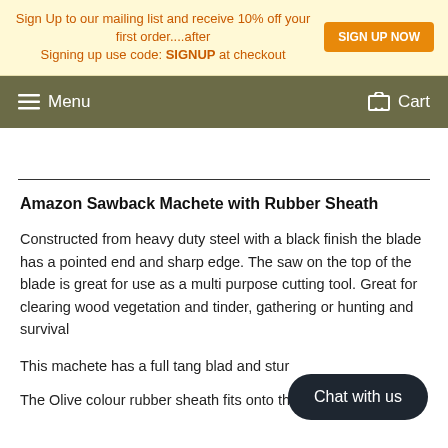Sign Up to our mailing list and receive 10% off your first order....after Signing up use code: SIGNUP at checkout  SIGN UP NOW
Menu  Cart
Amazon Sawback Machete with Rubber Sheath
Constructed from heavy duty steel with a black finish the blade has a pointed end and sharp edge. The saw on the top of the blade is great for use as a multi purpose cutting tool. Great for clearing wood vegetation and tinder, gathering or hunting and survival
This machete has a full tang blad and stur…
The Olive colour rubber sheath fits onto the… my style belt.